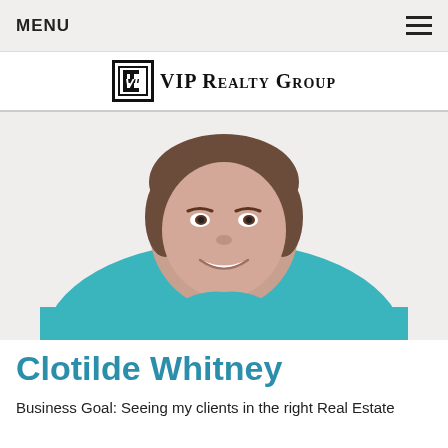MENU
[Figure (logo): VIP Realty Group logo with VIP badge and text]
[Figure (photo): Professional headshot of Clotilde Whitney, a woman smiling, wearing a teal/turquoise top, white background]
Clotilde Whitney
Business Goal: Seeing my clients in the right Real Estate